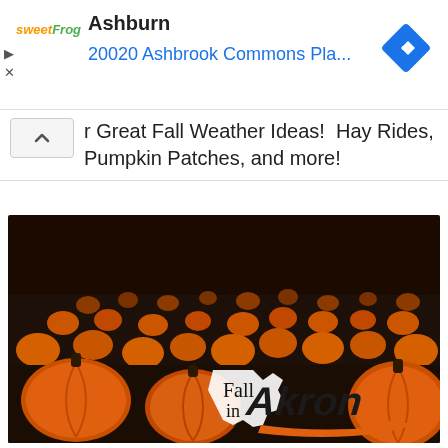[Figure (screenshot): Advertisement banner for sweetFrog showing location: Ashburn, 20020 Ashbrook Commons Pla... with navigation arrow icon and ad controls]
r Great Fall Weather Ideas! Hay Rides, Pumpkin Patches, and more!
[Figure (photo): A pumpkin patch photo with many orange pumpkins on dark ground with text overlay reading 'Fall in Akron' with an Ohio state outline logo and stylized Akron script in orange and black]